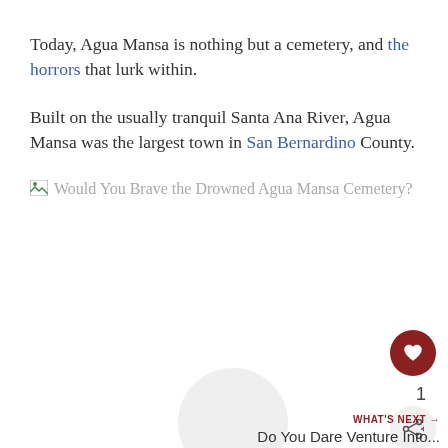Today, Agua Mansa is nothing but a cemetery, and the horrors that lurk within.
Built on the usually tranquil Santa Ana River, Agua Mansa was the largest town in San Bernardino County.
[Figure (other): Broken image placeholder with alt text: Would You Brave the Drowned Agua Mansa Cemetery?]
1
WHAT'S NEXT → Do You Dare Venture Into...